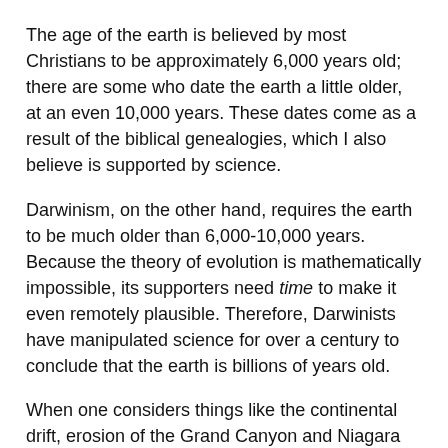The age of the earth is believed by most Christians to be approximately 6,000 years old; there are some who date the earth a little older, at an even 10,000 years. These dates come as a result of the biblical genealogies, which I also believe is supported by science.
Darwinism, on the other hand, requires the earth to be much older than 6,000-10,000 years. Because the theory of evolution is mathematically impossible, its supporters need time to make it even remotely plausible. Therefore, Darwinists have manipulated science for over a century to conclude that the earth is billions of years old.
When one considers things like the continental drift, erosion of the Grand Canyon and Niagara Falls, the amount of space dust on the moon, and the shrinking sun, there is no room for billions of years. When NASA was gearing up to land on the moon, they estimated space dust to collect at a rate of half an inch for every thousand years, and what they found was three inches of dust (indicating 6,000). The Grand Canyon and Niagara Falls erode every year, and our sun is